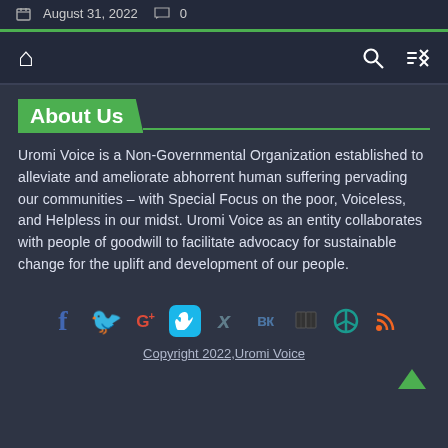August 31, 2022  0
About Us
Uromi Voice is a Non-Governmental Organization established to alleviate and ameliorate abhorrent human suffering pervading our communities – with Special Focus on the poor, Voiceless, and Helpless in our midst. Uromi Voice as an entity collaborates with people of goodwill to facilitate advocacy for sustainable change for the uplift and development of our people.
Copyright 2022,Uromi Voice